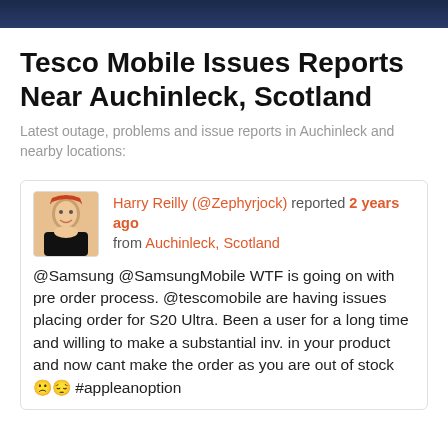[Figure (photo): Dark banner image at top of page]
Tesco Mobile Issues Reports Near Auchinleck, Scotland
Latest outage, problems and issue reports in Auchinleck and nearby locations:
Harry Reilly (@Zephyrjock) reported 2 years ago from Auchinleck, Scotland @Samsung @SamsungMobile WTF is going on with pre order process. @tescomobile are having issues placing order for S20 Ultra. Been a user for a long time and willing to make a substantial inv. in your product and now cant make the order as you are out of stock 😢 #appleanoption